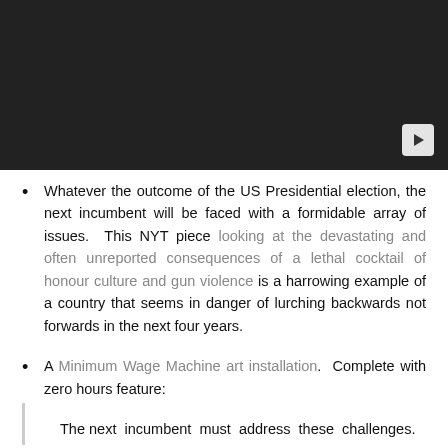[Figure (screenshot): Dark video player with a play button in the bottom right corner]
Whatever the outcome of the US Presidential election, the next incumbent will be faced with a formidable array of issues. This NYT piece looking at the devastating and often unreported consequences of a lethal cocktail of honour culture and gun violence is a harrowing example of a country that seems in danger of lurching backwards not forwards in the next four years.
A Minimum Wage Machine art installation. Complete with zero hours feature: